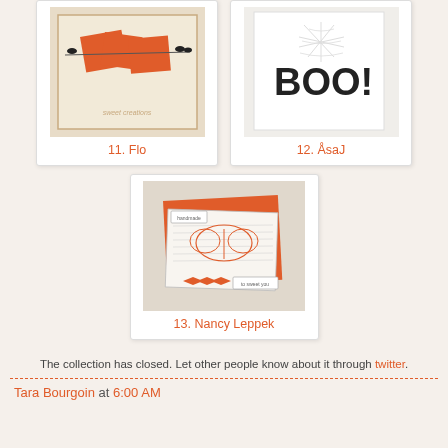[Figure (photo): Handmade card by Flo — orange paper shapes pinned on a string with black birds, on beige background, numbered 11]
11. Flo
[Figure (photo): Handmade Halloween card by AsaJ — white card with BOO! in black letters and spider web embossing, numbered 12]
12. ÅsaJ
[Figure (photo): Handmade card by Nancy Leppek — orange and white layered card with butterfly stamp and chevron ribbon, numbered 13]
13. Nancy Leppek
The collection has closed. Let other people know about it through twitter.
Tara Bourgoin at 6:00 AM